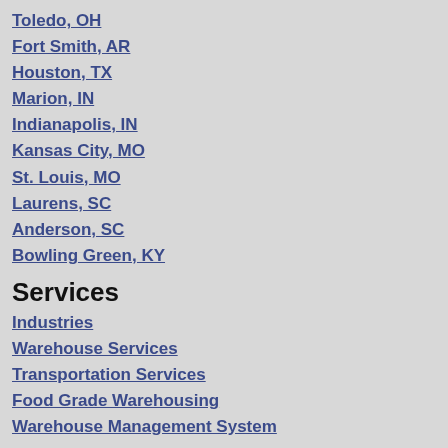Toledo, OH
Fort Smith, AR
Houston, TX
Marion, IN
Indianapolis, IN
Kansas City, MO
St. Louis, MO
Laurens, SC
Anderson, SC
Bowling Green, KY
Services
Industries
Warehouse Services
Transportation Services
Food Grade Warehousing
Warehouse Management System